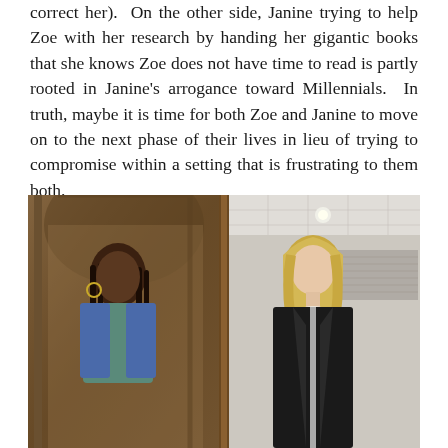correct her).  On the other side, Janine trying to help Zoe with her research by handing her gigantic books that she knows Zoe does not have time to read is partly rooted in Janine's arrogance toward Millennials.  In truth, maybe it is time for both Zoe and Janine to move on to the next phase of their lives in lieu of trying to compromise within a setting that is frustrating to them both.
[Figure (photo): Two women standing back to back separated by a door frame or divider. On the left, a young Black woman with braids wearing a denim vest over a teal shirt, standing in a classic stone archway setting. On the right, an older white woman with a blonde bob haircut wearing a black blazer, standing in a modern office-like setting.]